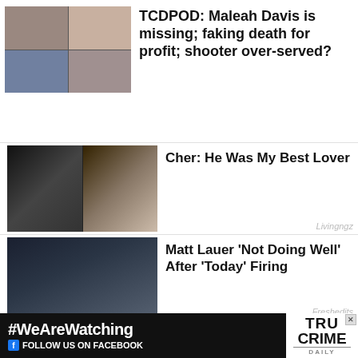[Figure (photo): Collage of photos including children and an adult man]
TCDPOD: Maleah Davis is missing; faking death for profit; shooter over-served?
[Figure (photo): Two photos side by side: Cher with a man in formal wear, and a woman in a sparkly dress]
Cher: He Was My Best Lover
Livingngz
[Figure (photo): Man in dark clothing standing in front of a large wall mural]
Matt Lauer 'Not Doing Well' After 'Today' Firing
Freshedits
[Figure (photo): A blonde woman and a man wearing a cowboy hat at an event]
Kenny Chesney's Wife Is Really Stunning
Ninjajournalist
[Figure (other): Ad banner: #WeAreWatching FOLLOW US ON FACEBOOK | True Crime Daily logo]